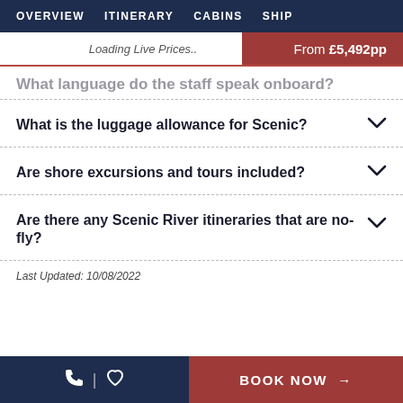OVERVIEW   ITINERARY   CABINS   SHIP
Loading Live Prices..   From £5,492pp
What language do the staff speak onboard?
What is the luggage allowance for Scenic?
Are shore excursions and tours included?
Are there any Scenic River itineraries that are no-fly?
Last Updated: 10/08/2022
BOOK NOW →